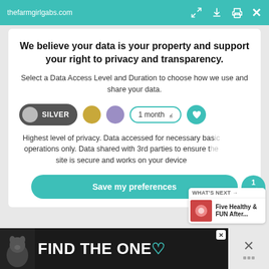thefarmgirlgabs.com
We believe your data is your property and support your right to privacy and transparency.
Select a Data Access Level and Duration to choose how we use and share your data.
[Figure (infographic): Privacy controls row with SILVER toggle (dark pill), gold circle, purple circle, 1 month dropdown, and teal heart button]
Highest level of privacy. Data accessed for necessary basic operations only. Data shared with 3rd parties to ensure the site is secure and works on your device
Save my preferences
[Figure (infographic): Ad banner: FIND THE ONE with dog image on dark background]